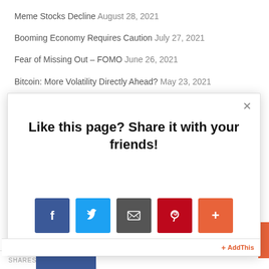Meme Stocks Decline August 28, 2021
Booming Economy Requires Caution July 27, 2021
Fear of Missing Out – FOMO June 26, 2021
Bitcoin: More Volatility Directly Ahead? May 23, 2021
[Figure (screenshot): Modal popup overlay with social sharing prompt: 'Like this page? Share it with your friends!' with Facebook, Twitter, Email, Pinterest, and More sharing buttons, and an AddThis bar at the bottom.]